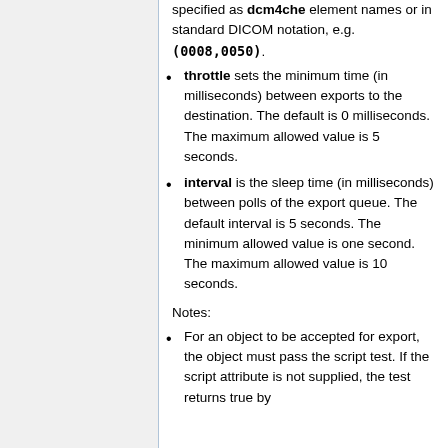specified as dcm4che element names or in standard DICOM notation, e.g. (0008,0050).
throttle sets the minimum time (in milliseconds) between exports to the destination. The default is 0 milliseconds. The maximum allowed value is 5 seconds.
interval is the sleep time (in milliseconds) between polls of the export queue. The default interval is 5 seconds. The minimum allowed value is one second. The maximum allowed value is 10 seconds.
Notes:
For an object to be accepted for export, the object must pass the script test. If the script attribute is not supplied, the test returns true by